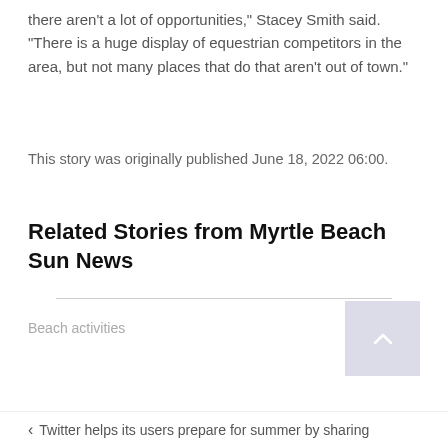there aren't a lot of opportunities," Stacey Smith said. "There is a huge display of equestrian competitors in the area, but not many places that do that aren't out of town."
This story was originally published June 18, 2022 06:00.
Related Stories from Myrtle Beach Sun News
Beach activities
< Twitter helps its users prepare for summer by sharing